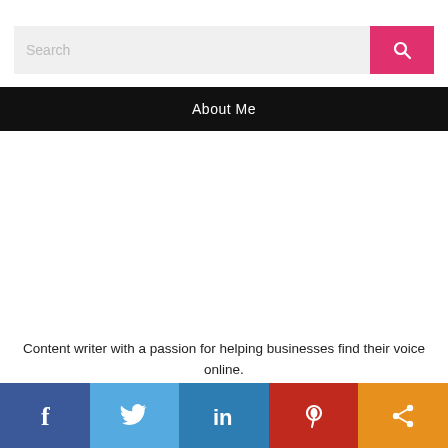[Figure (screenshot): Search bar with pink search button containing a magnifying glass icon]
About Me
Content writer with a passion for helping businesses find their voice online.
[Figure (infographic): Social media share bar with Facebook, Twitter, LinkedIn, Pinterest, and share icons]